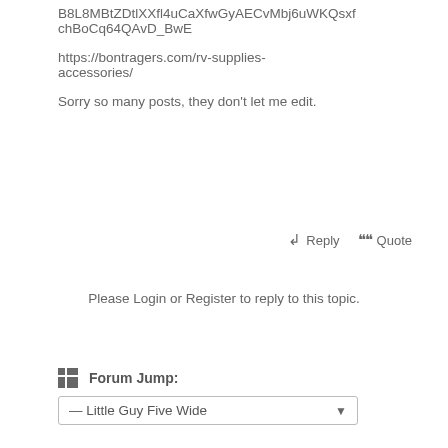B8L8MBtZDtlXXfl4uCaXfwGyAECvMbj6uWKQsxfchBoCq64QAvD_BwE
https://bontragers.com/rv-supplies-accessories/
Sorry so many posts, they don't let me edit.
Reply   Quote
Please Login or Register to reply to this topic.
Forum Jump:
— Little Guy Five Wide